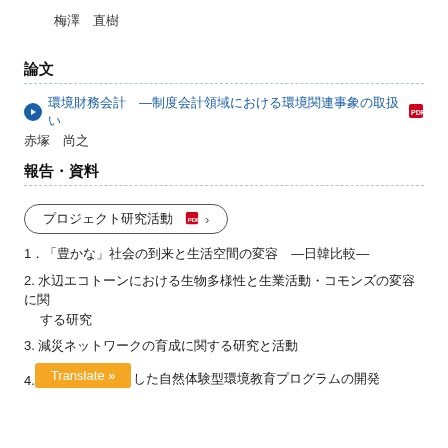梅澤　直樹
論文
環境財務会計　―制度会計領域における環境関連事象の取扱い
赤塚　尚之
報告・資料
プロジェクト研究活動
1．「豊かな」社会の到来と生活空間の変容　―日韓比較―
2. 水辺エコトーンにおける生物多様性と生業活動・コモンズの変容に関する研究
3. 減災ネットワークの育成に関する研究と活動
4. Translate » した自然体験型環境教育プログラムの開発